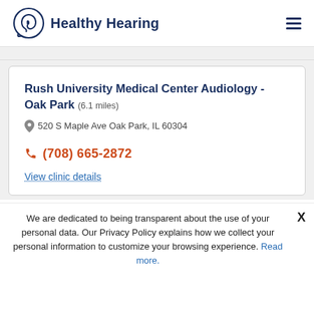Healthy Hearing
Rush University Medical Center Audiology - Oak Park (6.1 miles)
520 S Maple Ave Oak Park, IL 60304
(708) 665-2872
View clinic details
We are dedicated to being transparent about the use of your personal data. Our Privacy Policy explains how we collect your personal information to customize your browsing experience. Read more.